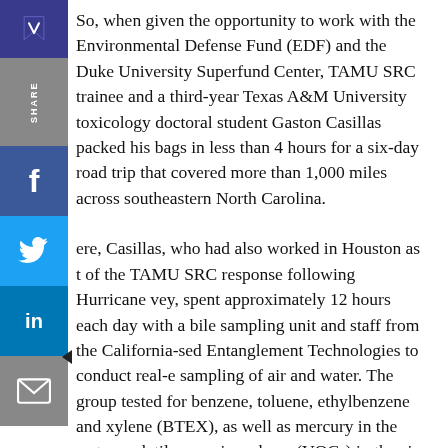So, when given the opportunity to work with the Environmental Defense Fund (EDF) and the Duke University Superfund Center, TAMU SRC trainee and a third-year Texas A&M University toxicology doctoral student Gaston Casillas packed his bags in less than 4 hours for a six-day road trip that covered more than 1,000 miles across southeastern North Carolina. There, Casillas, who had also worked in Houston as part of the TAMU SRC response following Hurricane Harvey, spent approximately 12 hours each day with a mobile sampling unit and staff from the California-based Entanglement Technologies to conduct real-time sampling of air and water. The group tested for benzene, toluene, ethylbenzene and xylene (BTEX), as well as mercury in the water; volatile organic carbons (VOCs) in the air. Casillas also collected samples for